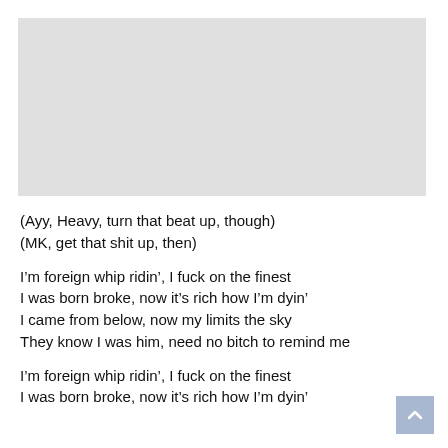[Figure (other): Gray placeholder image block at the top of the page]
(Ayy, Heavy, turn that beat up, though)
(MK, get that shit up, then)
I’m foreign whip ridin’, I fuck on the finest
I was born broke, now it’s rich how I’m dyin’
I came from below, now my limits the sky
They know I was him, need no bitch to remind me
I’m foreign whip ridin’, I fuck on the finest
I was born broke, now it’s rich how I’m dyin’